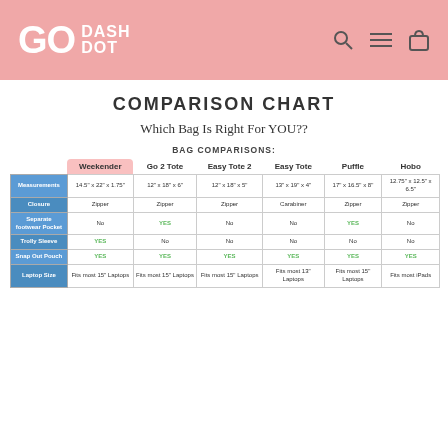[Figure (logo): Go Dash Dot logo with pink background header and navigation icons]
COMPARISON CHART
Which Bag Is Right For YOU??
BAG COMPARISONS:
|  | Weekender | Go 2 Tote | Easy Tote 2 | Easy Tote | Puffle | Hobo |
| --- | --- | --- | --- | --- | --- | --- |
| Measurements | 14.5" x 22" x 1.75" | 12" x 18" x 6" | 12" x 18" x 5" | 13" x 19" x 4" | 17" x 16.5" x 8" | 12.75" x 12.5" x 6.5" |
| Closure | Zipper | Zipper | Zipper | Carabiner | Zipper | Zipper |
| Separate footwear Pocket | No | YES | No | No | YES | No |
| Trolly Sleeve | YES | No | No | No | No | No |
| Snap Out Pouch | YES | YES | YES | YES | YES | YES |
| Laptop Size | Fits most 15" Laptops | Fits most 15" Laptops | Fits most 15" Laptops | Fits most 13" Laptops | Fits most 15" Laptops | Fits most iPads |